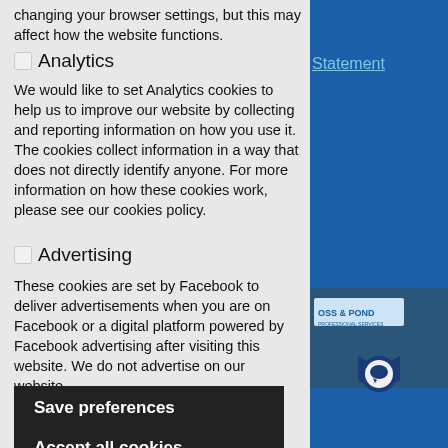changing your browser settings, but this may affect how the website functions.
Analytics
We would like to set Analytics cookies to help us to improve our website by collecting and reporting information on how you use it. The cookies collect information in a way that does not directly identify anyone. For more information on how these cookies work, please see our cookies policy.
Advertising
These cookies are set by Facebook to deliver advertisements when you are on Facebook or a digital platform powered by Facebook advertising after visiting this website. We do not advertise on our website.
Save preferences
Accept all cookies